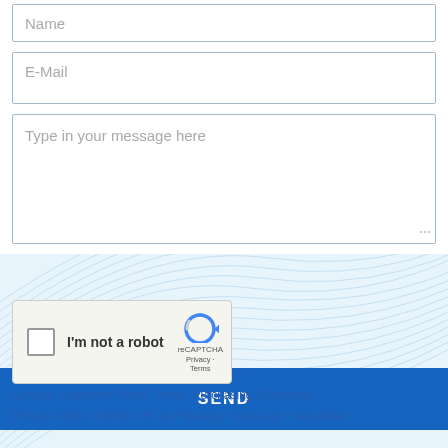Name
E-Mail
Type in your message here
[Figure (other): reCAPTCHA widget with checkbox labeled I'm not a robot]
SEND
Contact Customer Portal Terms Purchasing Conditions Privacy Policy Imprint UK Tax Strategy Kurita App Newsletter